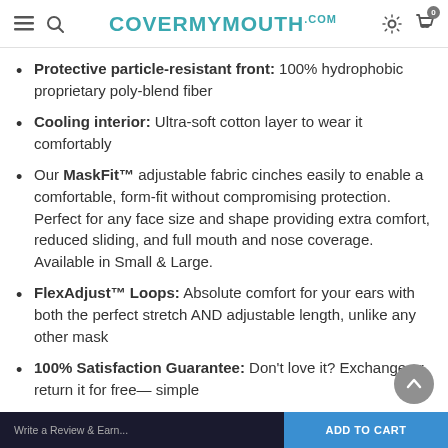COVERMYMOUTH.COM
Protective particle-resistant front: 100% hydrophobic proprietary poly-blend fiber
Cooling interior: Ultra-soft cotton layer to wear it comfortably
Our MaskFit™ adjustable fabric cinches easily to enable a comfortable, form-fit without compromising protection. Perfect for any face size and shape providing extra comfort, reduced sliding, and full mouth and nose coverage. Available in Small & Large.
FlexAdjust™ Loops: Absolute comfort for your ears with both the perfect stretch AND adjustable length, unlike any other mask
100% Satisfaction Guarantee: Don't love it? Exchange or return it for free— simple